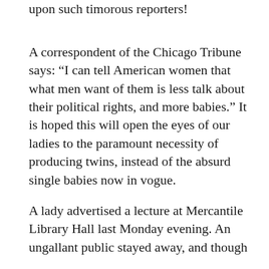upon such timorous reporters!
A correspondent of the Chicago Tribune says: “I can tell American women that what men want of them is less talk about their political rights, and more babies.” It is hoped this will open the eyes of our ladies to the paramount necessity of producing twins, instead of the absurd single babies now in vogue.
A lady advertised a lecture at Mercantile Library Hall last Monday evening. An ungallant public stayed away, and though